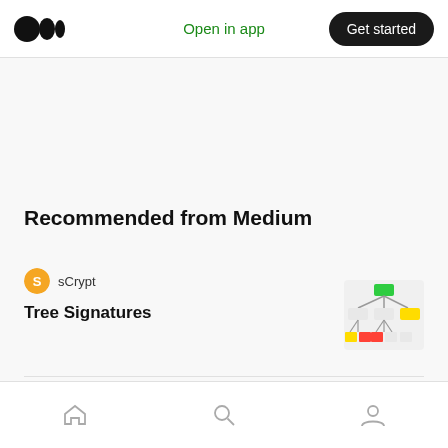Open in app | Get started
Recommended from Medium
sCrypt — Tree Signatures
Metaguild in Metaguild — Metaguild x GotchiVault just makes sense!
Home | Search | Profile